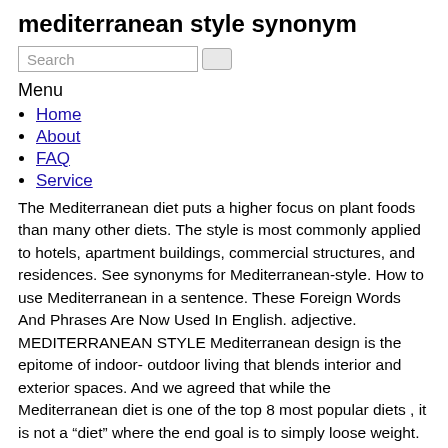mediterranean style synonym
Search
Menu
Home
About
FAQ
Service
The Mediterranean diet puts a higher focus on plant foods than many other diets. The style is most commonly applied to hotels, apartment buildings, commercial structures, and residences. See synonyms for Mediterranean-style. How to use Mediterranean in a sentence. These Foreign Words And Phrases Are Now Used In English. adjective. MEDITERRANEAN STYLE Mediterranean design is the epitome of indoor- outdoor living that blends interior and exterior spaces. And we agreed that while the Mediterranean diet is one of the top 8 most popular diets , it is not a “diet” where the end goal is to simply loose weight. Structures are typically based on a rectangular floor plan, and feature massive and symmetrical primary façades. Bring some Mediterranean style to your home and life. Yes, a good portion of our conversation